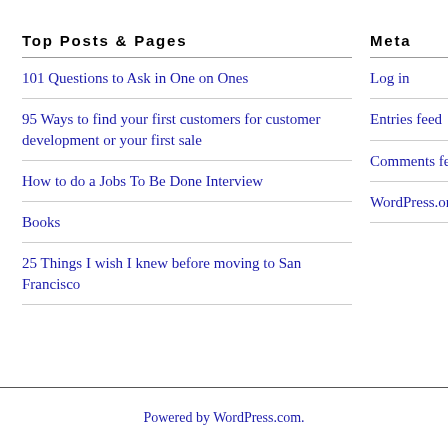Top Posts & Pages
101 Questions to Ask in One on Ones
95 Ways to find your first customers for customer development or your first sale
How to do a Jobs To Be Done Interview
Books
25 Things I wish I knew before moving to San Francisco
Meta
Log in
Entries feed
Comments feed
WordPress.org
Powered by WordPress.com.